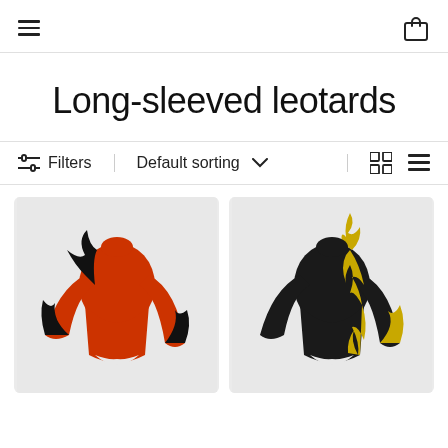Navigation header with hamburger menu and shopping bag icon
Long-sleeved leotards
Filters | Default sorting ∨ | grid/list view icons
[Figure (photo): Red long-sleeved leotard with black flame pattern on grey background]
[Figure (photo): Black long-sleeved leotard with yellow flame pattern on grey background]